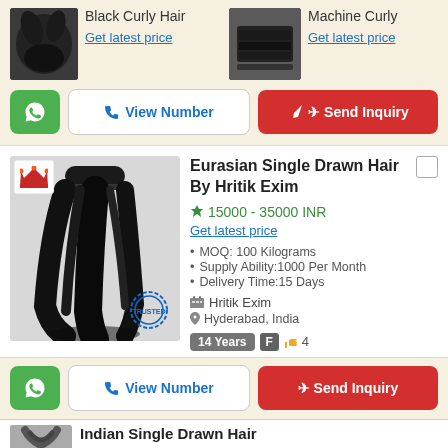[Figure (photo): Black curly hair product thumbnail]
Black Curly Hair
Get latest price
[Figure (photo): Machine Curly hair product thumbnail]
Machine Curly
Get latest price
[Figure (other): WhatsApp button, View Number button, Send Inquiry button]
[Figure (photo): Eurasian Single Drawn Hair product photo with crown badge and trusted stamp]
Eurasian Single Drawn Hair By Hritik Exim
15000 - 35000 INR
Get latest price
MOQ: 100 Kilograms
Supply Ability:1000 Per Month
Delivery Time:15 Days
Hritik Exim
Hyderabad, India
14 Years  F  4
[Figure (other): WhatsApp button, View Number button, Send Inquiry button]
Indian Single Drawn Hair